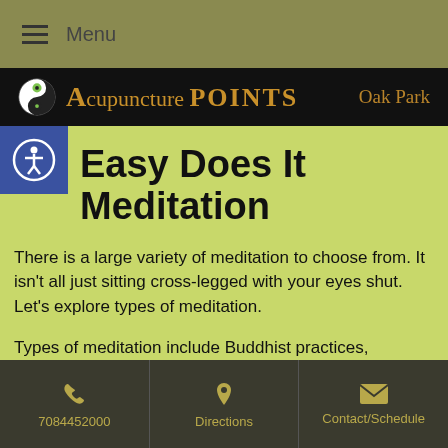Menu
Acupuncture POINTS  Oak Park
Easy Does It Meditation
There is a large variety of meditation to choose from. It isn't all just sitting cross-legged with your eyes shut. Let's explore types of meditation.
Types of meditation include Buddhist practices, transcendental, zen, mantra, chakra, sound, guided and active. How can someone choose where to start? Think about the type of person you are overall, the amount of time and dedication you have, and where your interests lie. What do you intend to get
7084452000  Directions  Contact/Schedule